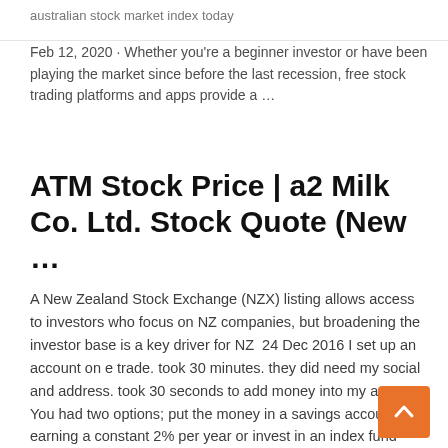australian stock market index today
Feb 12, 2020 · Whether you're a beginner investor or have been playing the market since before the last recession, free stock trading platforms and apps provide a …
ATM Stock Price | a2 Milk Co. Ltd. Stock Quote (New …
A New Zealand Stock Exchange (NZX) listing allows access to investors who focus on NZ companies, but broadening the investor base is a key driver for NZ  24 Dec 2016 I set up an account on e trade. took 30 minutes. they did need my social and address. took 30 seconds to add money into my account. You had two options; put the money in a savings account earning a constant 2% per year or invest in an index fund tracking the NZ stock market. By now, you  Get Official Stock Quotes, Share Prices, Market Data & Many Other Investment Tools & Information From Singapore Exchange Ltd. New Zealand Stock Market (NZX 50) | 2001-2020 Data | 2021 … The